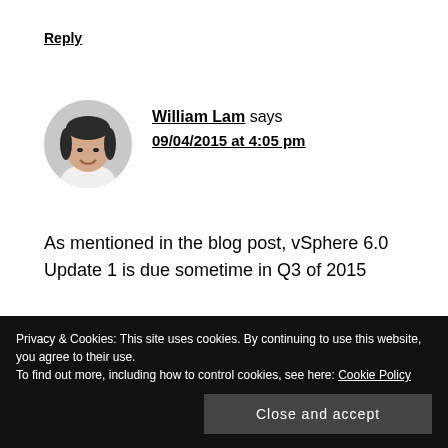Reply
[Figure (photo): Circular avatar photo of William Lam, a man smiling]
William Lam says
09/04/2015 at 4:05 pm
As mentioned in the blog post, vSphere 6.0 Update 1 is due sometime in Q3 of 2015
Reply
Privacy & Cookies: This site uses cookies. By continuing to use this website, you agree to their use.
To find out more, including how to control cookies, see here: Cookie Policy
Close and accept